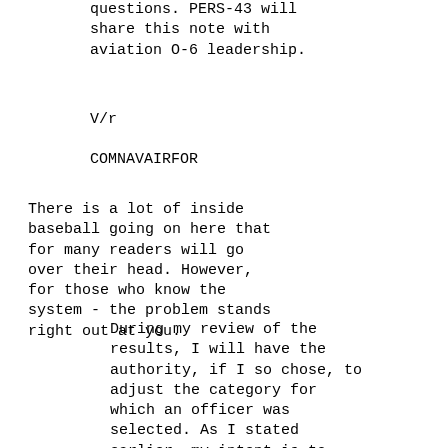questions. PERS-43 will share this note with aviation O-6 leadership.
V/r
COMNAVAIRFOR
There is a lot of inside baseball going on here that for many readers will go over their head. However, for those who know the system - the problem stands right out at you.
During my review of the results, I will have the authority, if I so chose, to adjust the category for which an officer was selected. As I stated earlier, my intent is to closely follow the board's recommendations, and